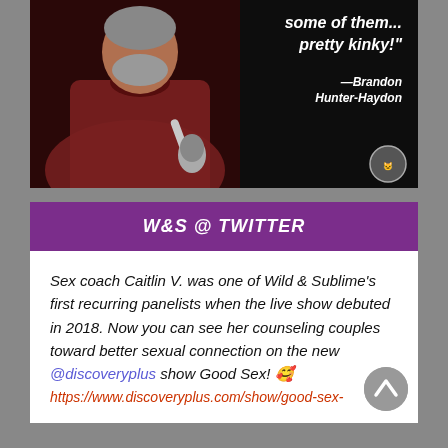[Figure (photo): A man in a dark red/maroon polo shirt holding a microphone, performing on stage against a black background. Quote text overlaid on the right side reading 'some of them... pretty kinky!' attributed to Brandon Hunter-Haydon. A small circular logo in the bottom right corner.]
W&S @ TWITTER
Sex coach Caitlin V. was one of Wild & Sublime's first recurring panelists when the live show debuted in 2018. Now you can see her counseling couples toward better sexual connection on the new @discoveryplus show Good Sex! 🥰
https://www.discoveryplus.com/show/good-sex-